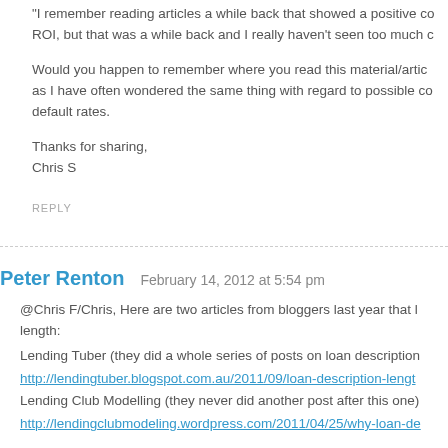“I remember reading articles a while back that showed a positive co ROI, but that was a while back and I really haven’t seen too much c
Would you happen to remember where you read this material/artic as I have often wondered the same thing with regard to possible co default rates.
Thanks for sharing,
Chris S
REPLY
Peter Renton   February 14, 2012 at 5:54 pm
@Chris F/Chris, Here are two articles from bloggers last year that l length:
Lending Tuber (they did a whole series of posts on loan description
http://lendingtuber.blogspot.com.au/2011/09/loan-description-lengt
Lending Club Modelling (they never did another post after this one)
http://lendingclubmodeling.wordpress.com/2011/04/25/why-loan-de